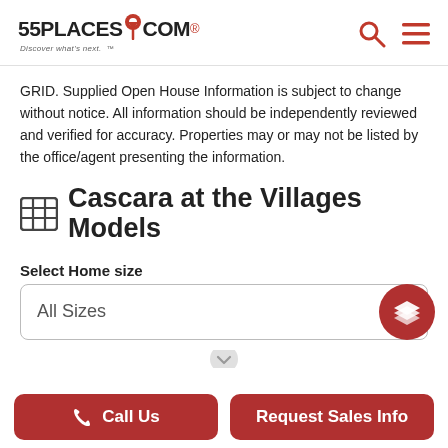55PLACES.COM — Discover what's next.
GRID. Supplied Open House Information is subject to change without notice. All information should be independently reviewed and verified for accuracy. Properties may or may not be listed by the office/agent presenting the information.
Cascara at the Villages Models
Select Home size
All Sizes
Call Us
Request Sales Info